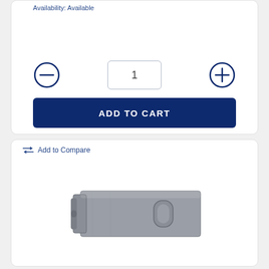Availability: Available
[Figure (screenshot): Quantity selector with minus button, quantity input showing 1, and plus button]
ADD TO CART
Add to Compare
[Figure (photo): Gray metal hasp/latch hardware product]